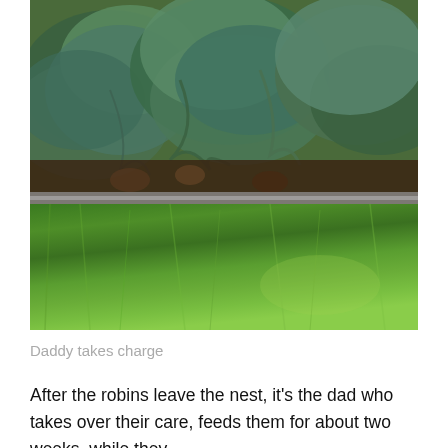[Figure (photo): Outdoor garden scene showing evergreen/conifer shrubs with blue-green needles against a dark mulch bed, separated by a concrete curb from a lush, vibrant green lawn in the foreground.]
Daddy takes charge
After the robins leave the nest, it's the dad who takes over their care, feeds them for about two weeks, while they